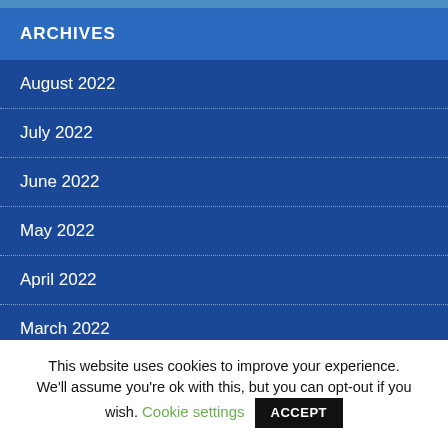ARCHIVES
August 2022
July 2022
June 2022
May 2022
April 2022
March 2022
February 2022
January 2022
This website uses cookies to improve your experience. We'll assume you're ok with this, but you can opt-out if you wish. Cookie settings ACCEPT